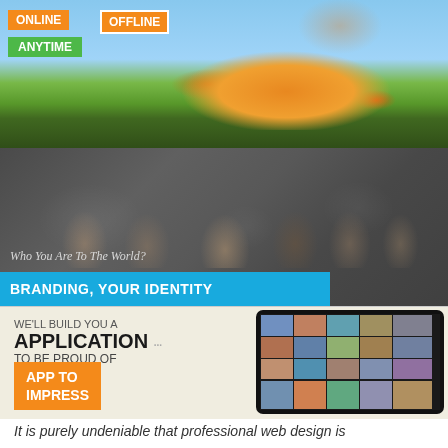[Figure (illustration): Orange convertible car banner with sky and grass background. Labels: ONLINE, OFFLINE, ANYTIME in orange and green boxes.]
[Figure (photo): Group of diverse business professionals on grey background with world map. Text: 'Who You Are To The World?' and blue bar with 'BRANDING, YOUR IDENTITY'.]
[Figure (illustration): Light beige banner with text 'WE'LL BUILD YOU A APPLICATION TO BE PROUD OF' and orange label 'APP TO IMPRESS'. Right side shows tablet device with photo grid.]
It is purely undeniable that professional web design is